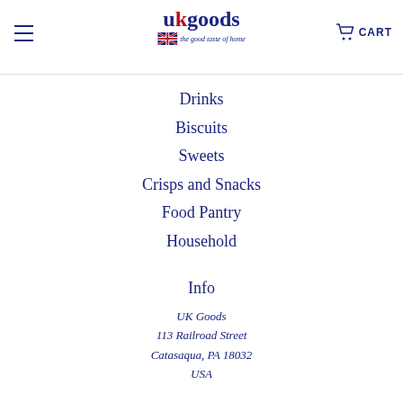[Figure (logo): UK Goods website logo with UK flag, stylized text 'ukgoods' in navy/red and italic tagline 'the good taste of home']
Drinks
Biscuits
Sweets
Crisps and Snacks
Food Pantry
Household
Info
UK Goods
113 Railroad Street
Catasaqua, PA 18032
USA